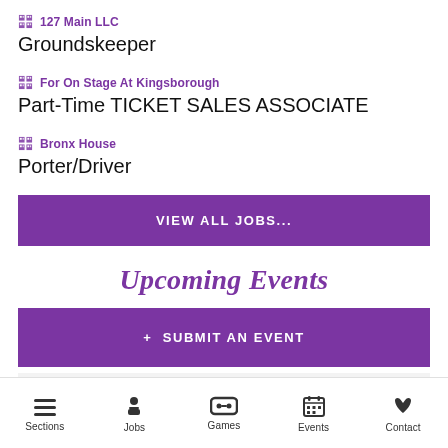127 Main LLC — Groundskeeper
For On Stage At Kingsborough — Part-Time TICKET SALES ASSOCIATE
Bronx House — Porter/Driver
VIEW ALL JOBS...
Upcoming Events
+ SUBMIT AN EVENT
Sections  Jobs  Games  Events  Contact